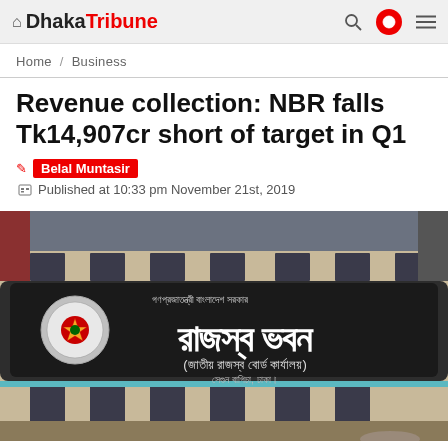Dhaka Tribune
Home / Business
Revenue collection: NBR falls Tk14,907cr short of target in Q1
Belal Muntasir
Published at 10:33 pm November 21st, 2019
[Figure (photo): Photograph of the National Board of Revenue (NBR) building in Dhaka, Bangladesh, showing a large Bangla-script signboard reading 'Rajaswa Bhaban' (Revenue Board Office), with the government seal visible on the left side of the banner.]